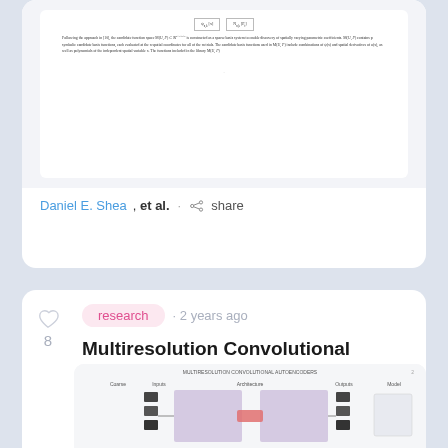[Figure (screenshot): Partial view of a scientific paper page showing formula boxes and dense text paragraphs about candidate function space construction.]
Daniel E. Shea, et al. · share
research · 2 years ago
Multiresolution Convolutional Autoencoders
We propose a multi-resolution convolutional autoencoder (MrCAE) architec...
[Figure (screenshot): Partial preview of the Multiresolution Convolutional Autoencoders paper showing an architecture diagram with encoder-decoder structure, inputs, outputs, and model labels.]